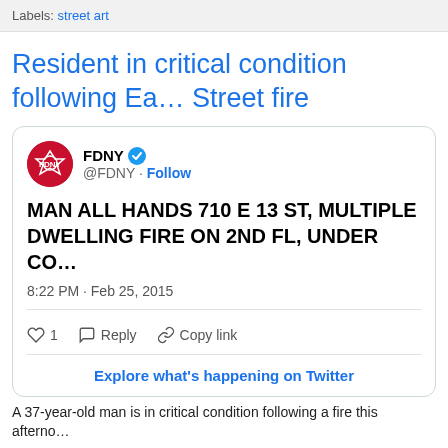Labels: street art
Resident in critical condition following East Street fire
[Figure (screenshot): Embedded tweet from FDNY (@FDNY) with verified badge. Tweet text: MAN ALL HANDS 710 E 13 ST, MULTIPLE DWELLING FIRE ON 2ND FL, UNDER CO. Posted at 8:22 PM · Feb 25, 2015. Shows 1 like, Reply and Copy link actions. Footer: Explore what's happening on Twitter.]
A 37-year-old man is in critical condition following a fire this afternoon